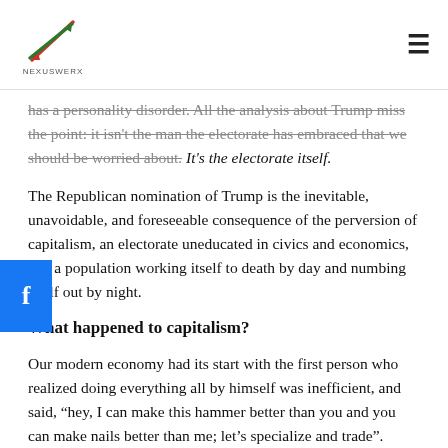NexusWerx logo and navigation
has a personality disorder. All the analysis about Trump miss the point: it isn't the man the electorate has embraced that we should be worried about. It's the electorate itself.
The Republican nomination of Trump is the inevitable, unavoidable, and foreseeable consequence of the perversion of capitalism, an electorate uneducated in civics and economics, and a population working itself to death by day and numbing itself out by night.
What happened to capitalism?
Our modern economy had its start with the first person who realized doing everything all by himself was inefficient, and said, “hey, I can make this hammer better than you and you can make nails better than me; let’s specialize and trade”. Entire countries have gone from hunter-gatherers to models of society...